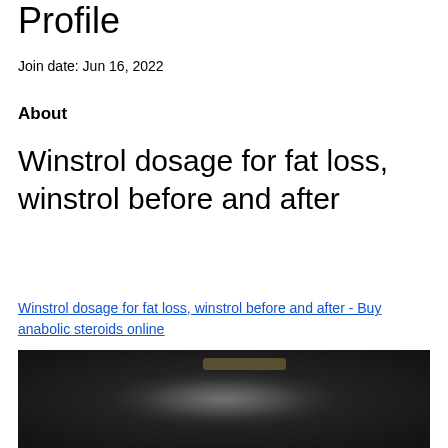Profile
Join date: Jun 16, 2022
About
Winstrol dosage for fat loss, winstrol before and after
Winstrol dosage for fat loss, winstrol before and after - Buy anabolic steroids online
[Figure (photo): Dark blurred image, appears to show a person or product, partially visible at bottom of page]